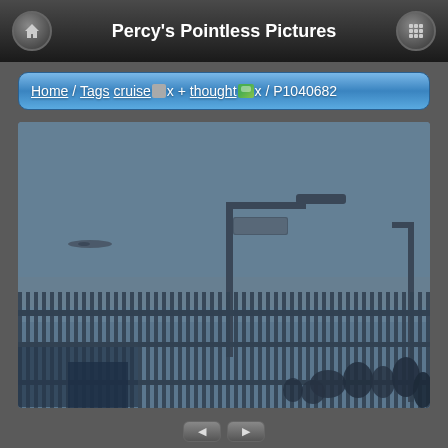Percy's Pointless Pictures
Home / Tags cruise x + thought x / P1040682
[Figure (photo): Outdoor photo showing a dark bluish-grey overcast sky, a metal fence with vertical railings in the lower half, a street lamp/light pole in the middle, a sign on the lamp post, a distant aircraft or bird near the left horizon, and a crowd of people visible at the bottom behind the fence. The overall tone is dark and bluish.]